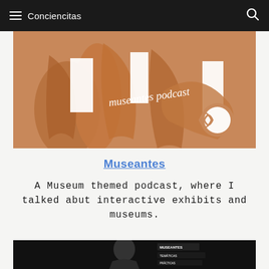Conciencitas
[Figure (photo): Museantes podcast cover image showing wooden sculpture with 'museantes podcast' text overlay and logo]
Museantes
A Museum themed podcast, where I talked abut interactive exhibits and museums.
[Figure (photo): Black and white photo of a person at what appears to be a museum or exhibition event with text banners in background]